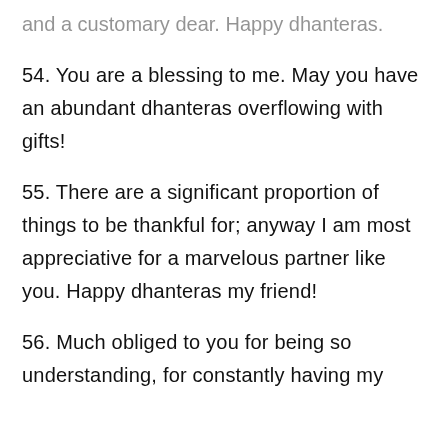and a customary dear. Happy dhanteras.
54. You are a blessing to me. May you have an abundant dhanteras overflowing with gifts!
55. There are a significant proportion of things to be thankful for; anyway I am most appreciative for a marvelous partner like you. Happy dhanteras my friend!
56. Much obliged to you for being so understanding, for constantly having my back, and for being so dear to me and...